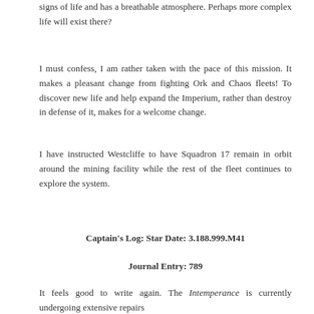signs of life and has a breathable atmosphere. Perhaps more complex life will exist there?
I must confess, I am rather taken with the pace of this mission. It makes a pleasant change from fighting Ork and Chaos fleets! To discover new life and help expand the Imperium, rather than destroy in defense of it, makes for a welcome change.
I have instructed Westcliffe to have Squadron 17 remain in orbit around the mining facility while the rest of the fleet continues to explore the system.
Captain's Log: Star Date: 3.188.999.M41
Journal Entry: 789
It feels good to write again. The Intemperance is currently undergoing extensive repairs in the dry dock at Hive Kappa.